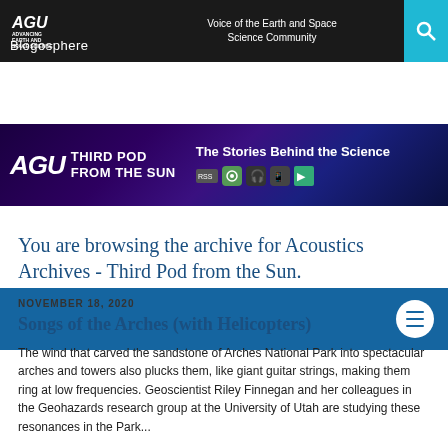[Figure (screenshot): AGU Blogosphere top navigation bar with AGU logo, 'Voice of the Earth and Space Science Community' text, and search icon]
[Figure (screenshot): AGU Third Pod From the Sun podcast banner with logo, tagline 'The Stories Behind the Science', and podcast platform icons on a starfield background]
[Figure (screenshot): Blue navigation menu bar with hamburger menu icon in white circle]
You are browsing the archive for Acoustics Archives - Third Pod from the Sun.
NOVEMBER 18, 2020
Songs of the Arches (with Helicopters)
The wind that carved the sandstone of Arches National Park into spectacular arches and towers also plucks them, like giant guitar strings, making them ring at low frequencies. Geoscientist Riley Finnegan and her colleagues in the Geohazards research group at the University of Utah are studying these resonances in the Park...